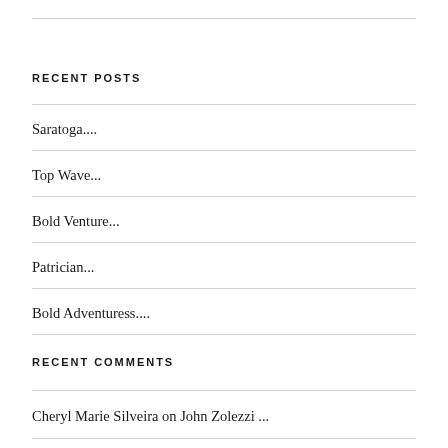RECENT POSTS
Saratoga....
Top Wave...
Bold Venture...
Patrician...
Bold Adventuress....
RECENT COMMENTS
Cheryl Marie Silveira on John Zolezzi ...